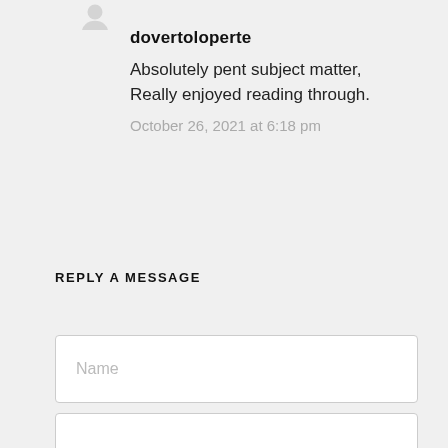[Figure (illustration): Partial avatar/profile icon at top, showing the bottom portion of a grey person silhouette]
dovertoloperte
Absolutely pent subject matter, Really enjoyed reading through.
October 26, 2021 at 6:18 pm
REPLY A MESSAGE
Name